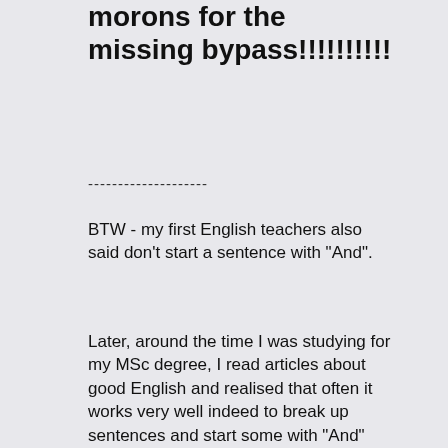morons for the missing bypass!!!!!!!!!!
--------------------
BTW - my first English teachers also said don't start a sentence with "And".
Later, around the time I was studying for my MSc degree, I read articles about good English and realised that often it works very well indeed to break up sentences and start some with "And" and "But" not least because it works very well to break up contrasting thoughts into separate points next to